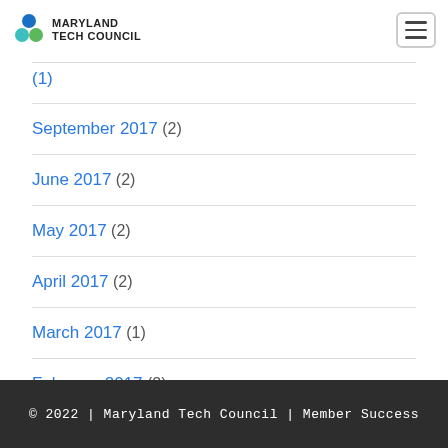Maryland Tech Council
September 2017 (2)
June 2017 (2)
May 2017 (2)
April 2017 (2)
March 2017 (1)
February 2017 (2)
© 2022 | Maryland Tech Council | Member Success